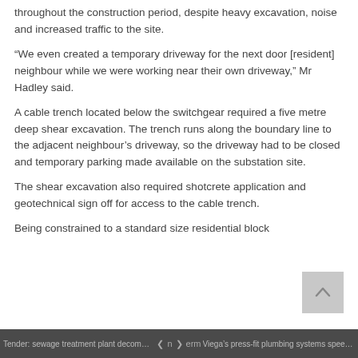throughout the construction period, despite heavy excavation, noise and increased traffic to the site.
“We even created a temporary driveway for the next door [resident] neighbour while we were working near their own driveway,” Mr Hadley said.
A cable trench located below the switchgear required a five metre deep shear excavation. The trench runs along the boundary line to the adjacent neighbour’s driveway, so the driveway had to be closed and temporary parking made available on the substation site.
The shear excavation also required shotcrete application and geotechnical sign off for access to the cable trench.
Being constrained to a standard size residential block
Tender: sewage treatment plant decommi... ❮ n ❯ erm Viega’s press-fit plumbing systems speed...